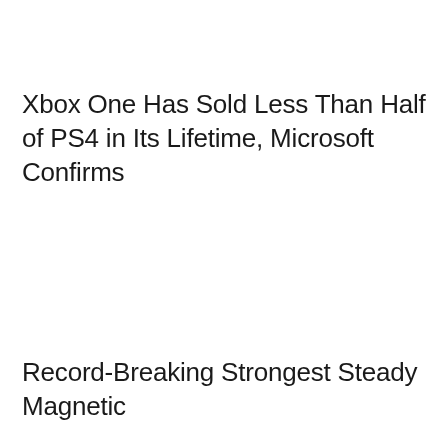Xbox One Has Sold Less Than Half of PS4 in Its Lifetime, Microsoft Confirms
Record-Breaking Strongest Steady Magnetic